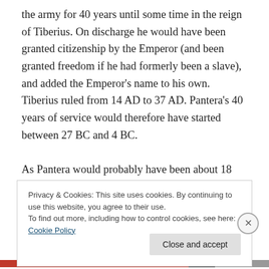the army for 40 years until some time in the reign of Tiberius. On discharge he would have been granted citizenship by the Emperor (and been granted freedom if he had formerly been a slave), and added the Emperor's name to his own. Tiberius ruled from 14 AD to 37 AD. Pantera's 40 years of service would therefore have started between 27 BC and 4 BC.

As Pantera would probably have been about 18 when he enlisted, it means he was likely born between 45 BC and 22 BC. He could have been as old as 38 or as young as
Privacy & Cookies: This site uses cookies. By continuing to use this website, you agree to their use.
To find out more, including how to control cookies, see here: Cookie Policy